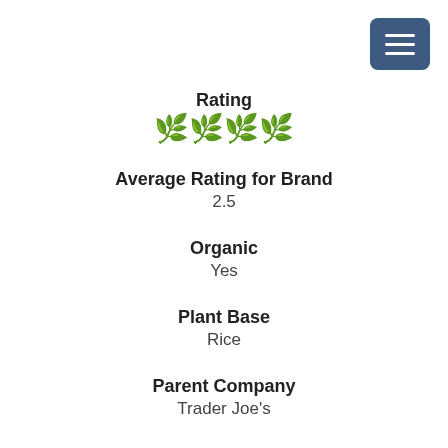[Figure (other): Hamburger menu button (three white horizontal lines on dark blue rounded square background), top right corner]
Rating
[Figure (other): Four green plant/flower emoji icons representing a rating of 4 out of 5]
Average Rating for Brand
2.5
Organic
Yes
Plant Base
Rice
Parent Company
Trader Joe's
Website
www.traderjoes.com